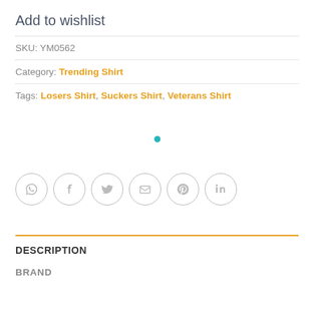Add to wishlist
SKU: YM0562
Category: Trending Shirt
Tags: Losers Shirt, Suckers Shirt, Veterans Shirt
[Figure (other): Small teal loading dot centered on page]
[Figure (other): Row of six circular social media share icons: WhatsApp, Facebook, Twitter, Email, Pinterest, LinkedIn]
DESCRIPTION
BRAND